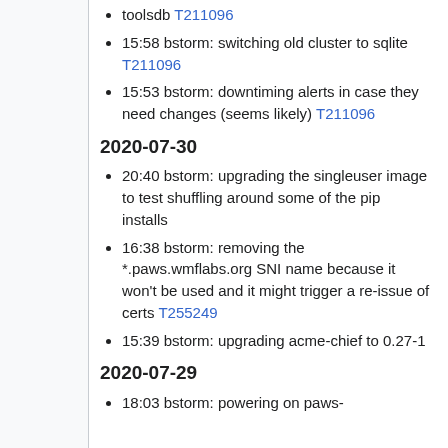toolsdb T211096
15:58 bstorm: switching old cluster to sqlite T211096
15:53 bstorm: downtiming alerts in case they need changes (seems likely) T211096
2020-07-30
20:40 bstorm: upgrading the singleuser image to test shuffling around some of the pip installs
16:38 bstorm: removing the *.paws.wmflabs.org SNI name because it won't be used and it might trigger a re-issue of certs T255249
15:39 bstorm: upgrading acme-chief to 0.27-1
2020-07-29
18:03 bstorm: powering on paws-